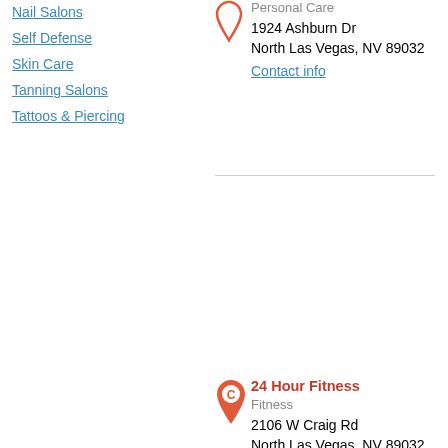Nail Salons
Self Defense
Skin Care
Tanning Salons
Tattoos & Piercing
Personal Care
1924 Ashburn Dr
North Las Vegas, NV 89032
Contact info
24 Hour Fitness
Fitness
2106 W Craig Rd
North Las Vegas, NV 89032